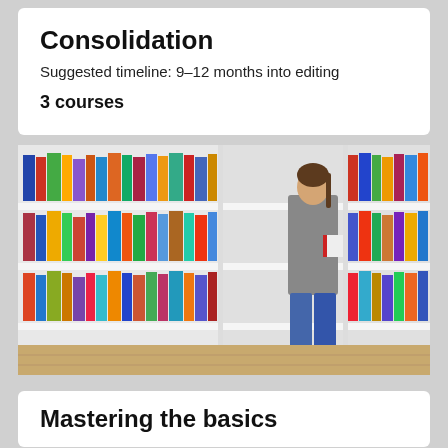Consolidation
Suggested timeline: 9–12 months into editing
3 courses
[Figure (photo): Person browsing books in a library with white shelving units filled with colorful books]
Mastering the basics